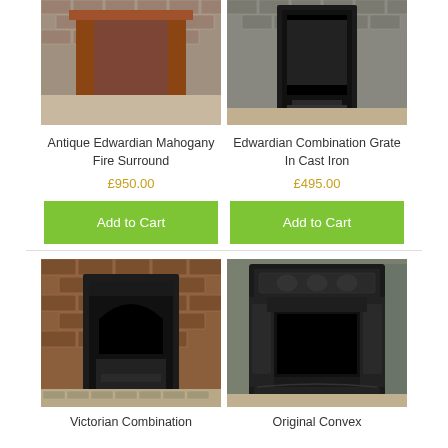[Figure (photo): Antique Edwardian Mahogany Fire Surround photo showing wooden fireplace surround against brick background]
[Figure (photo): Edwardian Combination Grate In Cast Iron photo showing black cast iron fireplace grate against brick background]
Antique Edwardian Mahogany Fire Surround
Edwardian Combination Grate In Cast Iron
£950.00
£495.00
Add to Cart
Add to Cart
[Figure (photo): Victorian Combination fireplace photo showing ornate cast iron combination grate against brick wall]
[Figure (photo): Original Convex fireplace insert photo showing ornate cast iron insert against brick background]
Victorian Combination
Original Convex